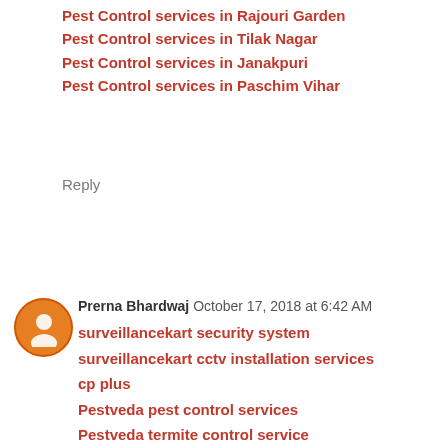Pest Control services in Rajouri Garden
Pest Control services in Tilak Nagar
Pest Control services in Janakpuri
Pest Control services in Paschim Vihar
Reply
Prerna Bhardwaj  October 17, 2018 at 6:42 AM
surveillancekart security system
surveillancekart cctv installation services
cp plus
Pestveda pest control services
Pestveda termite control service
dezigly
The feedgasm Latest News And Breaking News